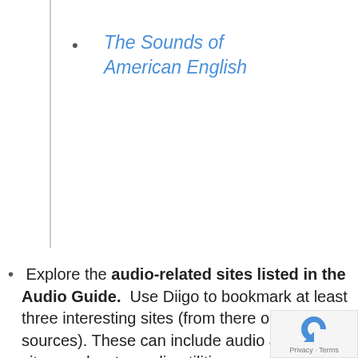The Sounds of American English
Explore the audio-related sites listed in the Audio Guide. Use Diigo to bookmark at least three interesting sites (from there or other sources). These can include audio activity sites, podcasts, audio utilities, or anything else that is related to the use of audio for language learning.
Register at Voki.com, create a Voki chatbot, and post it on your blog.